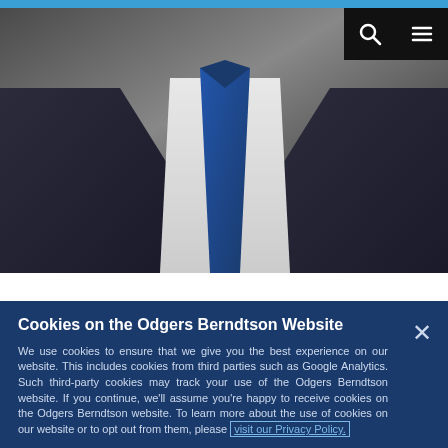[Figure (photo): Header photo of a man in a dark suit with a blue tie against a white shirt, cropped to show torso. Navigation bar with search icon and hamburger menu icon on the top right.]
Cookies on the Odgers Berndtson Website
We use cookies to ensure that we give you the best experience on our website. This includes cookies from third parties such as Google Analytics. Such third-party cookies may track your use of the Odgers Berndtson website. If you continue, we'll assume you're happy to receive cookies on the Odgers Berndtson website. To learn more about the use of cookies on our website or to opt out from them, please visit our Privacy Policy.